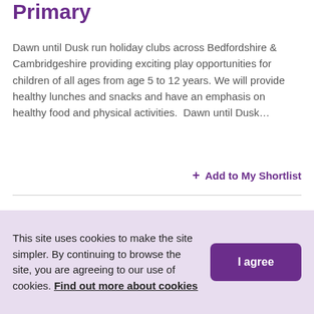Primary
Dawn until Dusk run holiday clubs across Bedfordshire & Cambridgeshire providing exciting play opportunities for children of all ages from age 5 to 12 years. We will provide healthy lunches and snacks and have an emphasis on healthy food and physical activities.  Dawn until Dusk…
+ Add to My Shortlist
R & D Coaching @ Pinchmill Primary Felmersham
Our half term holiday provisions are open to Primary school children of all abilities. The emphasis will be on fun and
This site uses cookies to make the site simpler. By continuing to browse the site, you are agreeing to our use of cookies. Find out more about cookies